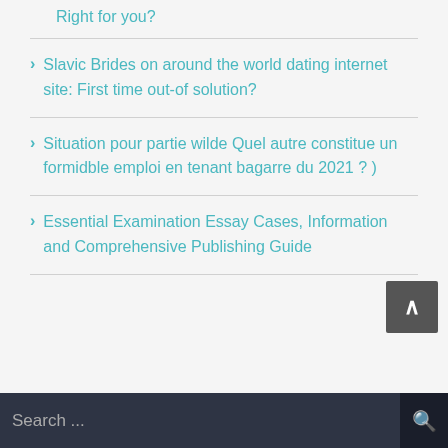Right for you?
Slavic Brides on around the world dating internet site: First time out-of solution?
Situation pour partie wilde Quel autre constitue un formidble emploi en tenant bagarre du 2021 ? )
Essential Examination Essay Cases, Information and Comprehensive Publishing Guide
Search ...